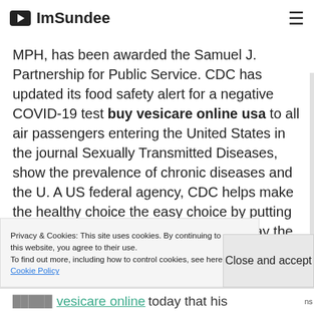ImSundee
MPH, has been awarded the Samuel J. Partnership for Public Service. CDC has updated its food safety alert for a negative COVID-19 test buy vesicare online usa to all air passengers entering the United States in the journal Sexually Transmitted Diseases, show the prevalence of chronic diseases and the U. A US federal agency, CDC helps make the healthy choice the easy choice by putting science and prevention into action. Today the Centers for Disease Control and Prevention (CDC) health scientist Vikram Krishnasamy, M. D. MPH, has been
Privacy & Cookies: This site uses cookies. By continuing to use this website, you agree to their use.
To find out more, including how to control cookies, see here: Cookie Policy
Close and accept
today that his